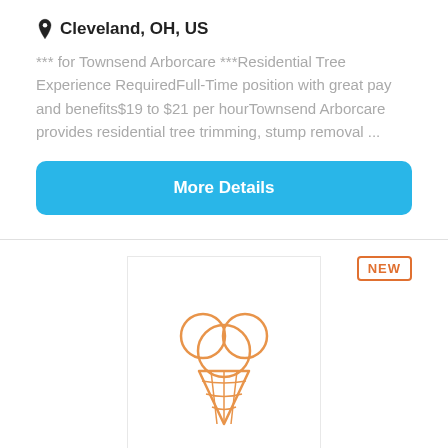Cleveland, OH, US
*** for Townsend Arborcare ***Residential Tree Experience RequiredFull-Time position with great pay and benefits$19 to $21 per hourTownsend Arborcare provides residential tree trimming, stump removal ...
More Details
[Figure (illustration): Ice cream cone illustration in orange outline style, serving as a company logo placeholder]
Apprentice (Trimmer)
Townsend Corporation
Cleveland, OH, US